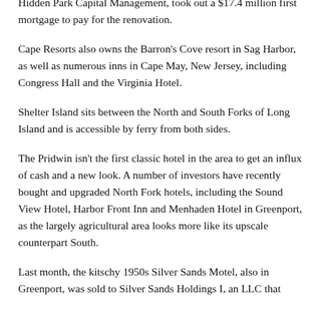Hidden Park Capital Management, took out a $17.4 million first mortgage to pay for the renovation.
Cape Resorts also owns the Barron's Cove resort in Sag Harbor, as well as numerous inns in Cape May, New Jersey, including Congress Hall and the Virginia Hotel.
Shelter Island sits between the North and South Forks of Long Island and is accessible by ferry from both sides.
The Pridwin isn't the first classic hotel in the area to get an influx of cash and a new look. A number of investors have recently bought and upgraded North Fork hotels, including the Sound View Hotel, Harbor Front Inn and Menhaden Hotel in Greenport, as the largely agricultural area looks more like its upscale counterpart South.
Last month, the kitschy 1950s Silver Sands Motel, also in Greenport, was sold to Silver Sands Holdings I, an LLC that